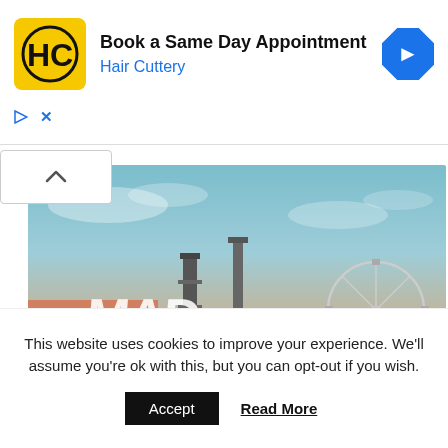[Figure (other): Hair Cuttery advertisement banner with logo, text 'Book a Same Day Appointment', 'Hair Cuttery', and a blue navigation arrow icon. Ad controls (play triangle and X) shown below.]
[Figure (photo): Mad Cool Festival 2020 promotional image showing a large crowd at an outdoor festival venue with ferris wheel, stage structures, and festival branding text 'MAD COOL FESTIVAL 2020 JUL 8/9/10/11' overlaid on a sky background.]
[Figure (other): Green 'News' button partially visible at the bottom of the festival image area.]
This website uses cookies to improve your experience. We'll assume you're ok with this, but you can opt-out if you wish.
Accept
Read More